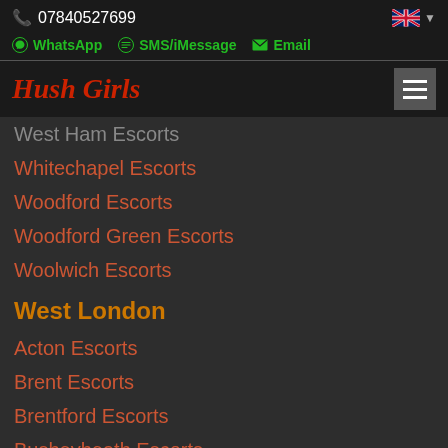07840527699
WhatsApp  SMS/iMessage  Email
Hush Girls
West Ham Escorts
Whitechapel Escorts
Woodford Escorts
Woodford Green Escorts
Woolwich Escorts
West London
Acton Escorts
Brent Escorts
Brentford Escorts
Busheyheath Escorts
Chiswick Escorts